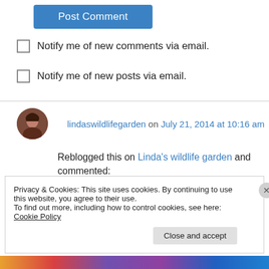[Figure (other): Blue 'Post Comment' button]
Notify me of new comments via email.
Notify me of new posts via email.
lindaswildlifegarden on July 21, 2014 at 10:16 am
Reblogged this on Linda's wildlife garden and commented:
Awesome and thank you for sharing
Privacy & Cookies: This site uses cookies. By continuing to use this website, you agree to their use.
To find out more, including how to control cookies, see here: Cookie Policy
Close and accept